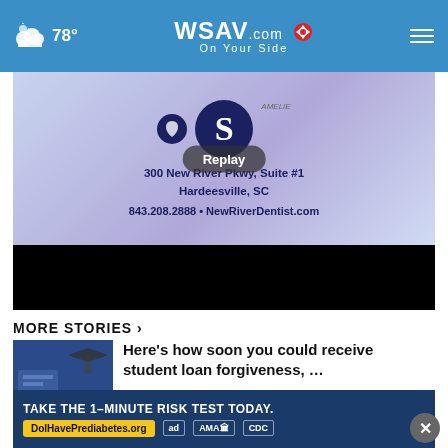WSAV.com On Your Side — 78°
[Figure (screenshot): Video player showing a dental office advertisement for New River Dentist with Replay button overlay]
MORE STORIES ›
[Figure (photo): Thumbnail for student loan forgiveness article showing money and graduation cap]
Here's how soon you could receive student loan forgiveness, …
[Figure (photo): Thumbnail for NASA Artemis I article showing rocket on launch pad]
Watch: Lightning strikes NASA's Artemis I, moon rocket …
[Figure (photo): Partial thumbnail for third story]
… after being hospitalized …
[Figure (screenshot): Advertisement banner: TAKE THE 1-MINUTE RISK TEST TODAY. DolHavePrediabetes.org — with ad, AMA, and CDC badges]